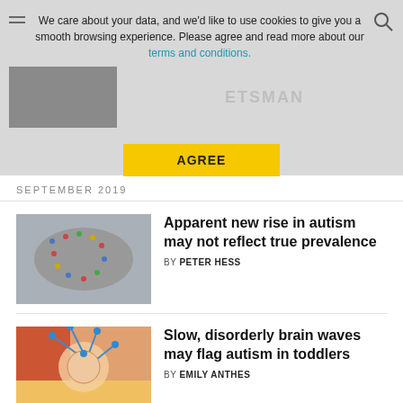We care about your data, and we'd like to use cookies to give you a smooth browsing experience. Please agree and read more about our terms and conditions.
AGREE
SEPTEMBER 2019
[Figure (photo): Aerial view of people forming a pattern on a grey surface]
Apparent new rise in autism may not reflect true prevalence
BY PETER HESS
[Figure (photo): Child wearing colorful EEG electrode cap with wires, close-up]
Slow, disorderly brain waves may flag autism in toddlers
BY EMILY ANTHES
AUGUST 2019